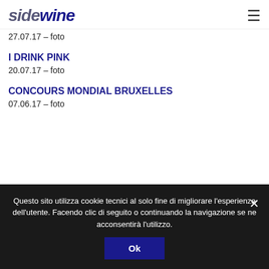sidewine
27.07.17 – foto
I DRINK PINK
20.07.17 – foto
CONCOURS MONDIAL BRUXELLES
07.06.17 – foto
Questo sito utilizza cookie tecnici al solo fine di migliorare l'esperienza dell'utente. Facendo clic di seguito o continuando la navigazione se ne acconsentirà l'utilizzo.
Ok